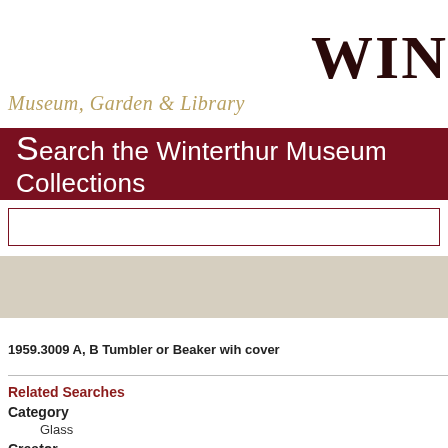WIN
Museum, Garden & Library
Search the Winterthur Museum Collections
[Figure (screenshot): Search input box with dark red border]
[Figure (screenshot): Beige/tan filter bar]
1959.3009 A, B Tumbler or Beaker wih cover
Enlarge
Related Searches
Category
Glass
Creator
John Frederick Amelung
Glass
Category
Glass
Creator
John Fre
Place o
Frederic
Date: